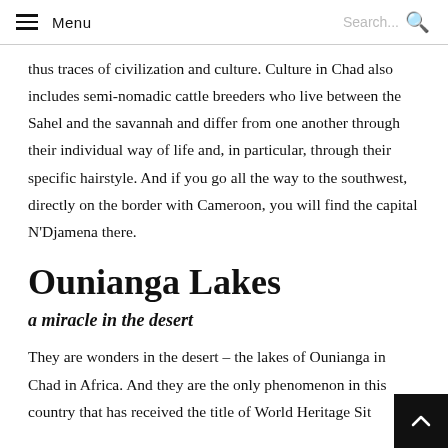Menu  Search...
thus traces of civilization and culture. Culture in Chad also includes semi-nomadic cattle breeders who live between the Sahel and the savannah and differ from one another through their individual way of life and, in particular, through their specific hairstyle. And if you go all the way to the southwest, directly on the border with Cameroon, you will find the capital N'Djamena there.
Ounianga Lakes
a miracle in the desert
They are wonders in the desert – the lakes of Ounianga in Chad in Africa. And they are the only phenomenon in this country that has received the title of World Heritage Sit